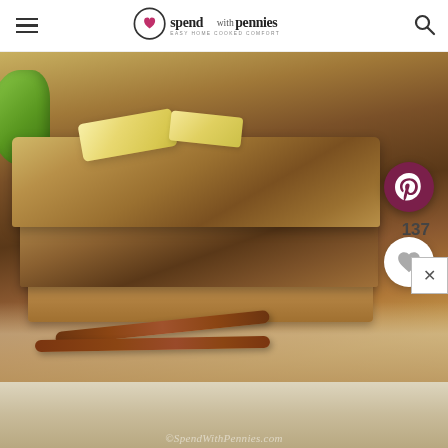spend with pennies — EASY HOME COOKED COMFORT
[Figure (photo): Stacked slices of cinnamon apple bread with butter pats on top, green apple slices in background, cinnamon sticks in foreground, on parchment paper and wooden board]
[Figure (photo): Bottom portion of second food photo with SpendWithPennies.com watermark]
137